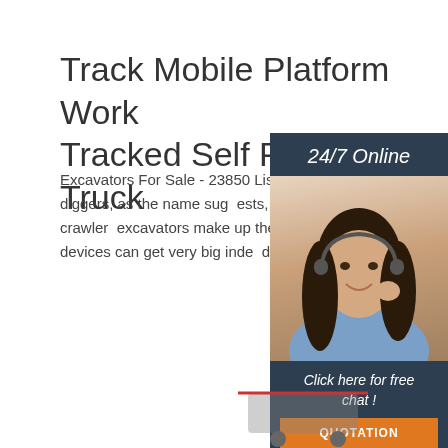Track Mobile Platform Work Tracked Self Propelled Truck
Excavators For Sale - 23850 Listings . Compact excavators or mini diggers, as the name suggests, are designed for limited work, while crawler excavators make up the bulk of the market. These large tracked devices can get very big indeed, and are often used for the …
[Figure (other): Orange 'Get Price' button]
[Figure (other): Sidebar with 24/7 Online label, woman with headset photo, Click here for free chat text, and QUOTATION orange button]
[Figure (other): Partial image of equipment at bottom right]